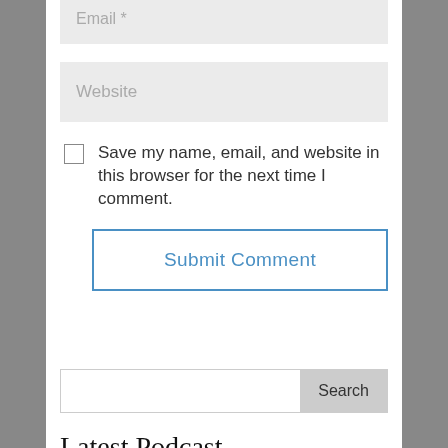Email *
Website
Save my name, email, and website in this browser for the next time I comment.
Submit Comment
Search
Latest Podcast